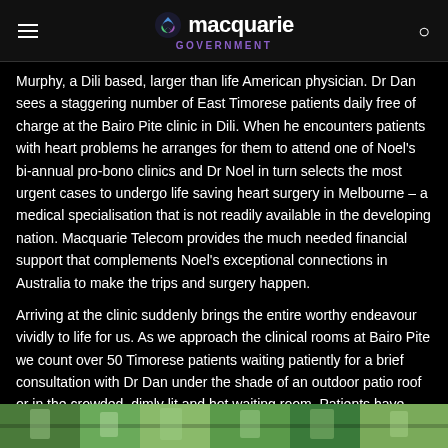macquarie GOVERNMENT
Murphy, a Dili based, larger than life American physician. Dr Dan sees a staggering number of East Timorese patients daily free of charge at the Bairo Pite clinic in Dili. When he encounters patients with heart problems he arranges for them to attend one of Noel's bi-annual pro-bono clinics and Dr Noel in turn selects the most urgent cases to undergo life saving heart surgery in Melbourne – a medical specialisation that is not readily available in the developing nation. Macquarie Telecom provides the much needed financial support that complements Noel's exceptional connections in Australia to make the trips and surgery happen.
Arriving at the clinic suddenly brings the entire worthy endeavour vividly to life for us. As we approach the clinical rooms at Bairo Pite we count over 50 Timorese patients waiting patiently for a brief consultation with Dr Dan under the shade of an outdoor patio roof or in the crowded, dimly lit and hot waiting room. Patients have often travelled for many hours with sick children or relatives, or are personally suffering symptoms they can no longer ignore.
[Figure (photo): Photo strip at bottom showing people, partially visible]